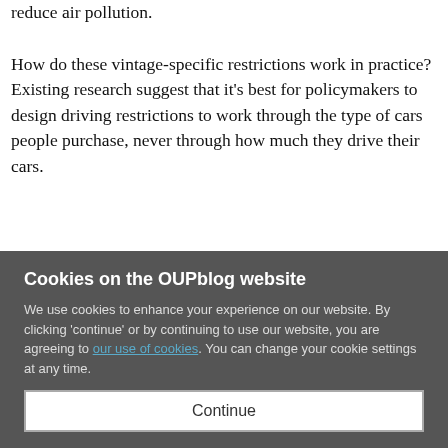reduce air pollution.
How do these vintage-specific restrictions work in practice? Existing research suggest that it's best for policymakers to design driving restrictions to work through the type of cars people purchase, never through how much they drive their cars.
By affecting purchasing decisions, a vintage-specific restriction can yield important welfare gains by moving the fleet composition toward cleaner cars. Emission rates vary
Cookies on the OUPblog website
We use cookies to enhance your experience on our website. By clicking 'continue' or by continuing to use our website, you are agreeing to our use of cookies. You can change your cookie settings at any time.
Continue